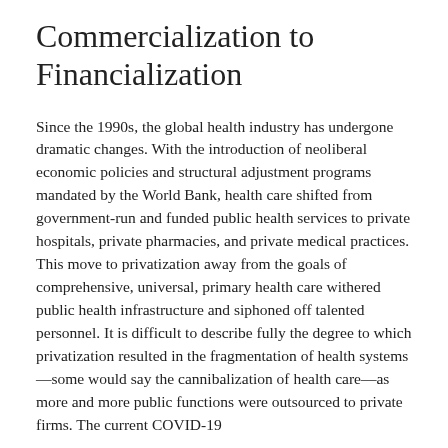Commercialization to Financialization
Since the 1990s, the global health industry has undergone dramatic changes. With the introduction of neoliberal economic policies and structural adjustment programs mandated by the World Bank, health care shifted from government-run and funded public health services to private hospitals, private pharmacies, and private medical practices. This move to privatization away from the goals of comprehensive, universal, primary health care withered public health infrastructure and siphoned off talented personnel. It is difficult to describe fully the degree to which privatization resulted in the fragmentation of health systems—some would say the cannibalization of health care—as more and more public functions were outsourced to private firms. The current COVID-19